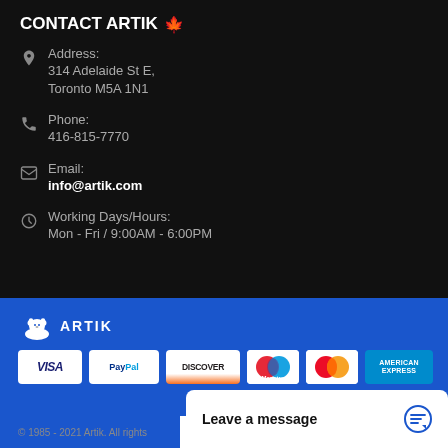CONTACT ARTIK 🍁
Address: 314 Adelaide St E, Toronto M5A 1N1
Phone: 416-815-7770
Email: info@artik.com
Working Days/Hours: Mon - Fri / 9:00AM - 6:00PM
[Figure (logo): Artik polar bear logo with text ARTIK on blue background]
[Figure (other): Payment method logos: VISA, PayPal, DISCOVER, Maestro, MasterCard, American Express]
© 1985 - 2021 Artik. All rights
Leave a message